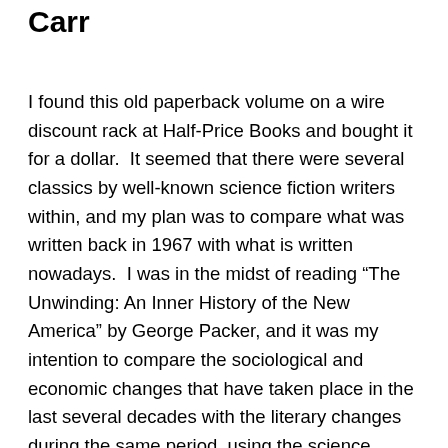Carr
I found this old paperback volume on a wire discount rack at Half-Price Books and bought it for a dollar.  It seemed that there were several classics by well-known science fiction writers within, and my plan was to compare what was written back in 1967 with what is written nowadays.  I was in the midst of reading “The Unwinding: An Inner History of the New America” by George Packer, and it was my intention to compare the sociological and economic changes that have taken place in the last several decades with the literary changes during the same period, using the science fiction “best of” volumes I had been recently reading as a point of reference.  Alas, it did not work out.  I had expected the 1967 stories to be superior to the 2012 stories, but they were not.  They were different, yes, but